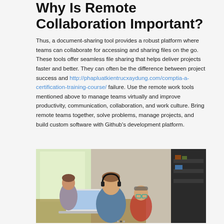Why Is Remote Collaboration Important?
Thus, a document-sharing tool provides a robust platform where teams can collaborate for accessing and sharing files on the go. These tools offer seamless file sharing that helps deliver projects faster and better. They can often be the difference between project success and http://phapluatkientrucxaydung.com/comptia-a-certification-training-course/ failure. Use the remote work tools mentioned above to manage teams virtually and improve productivity, communication, collaboration, and work culture. Bring remote teams together, solve problems, manage projects, and build custom software with Github's development platform.
[Figure (photo): A man wearing headphones working on a laptop at a table, with two children nearby, in a home or office setting.]